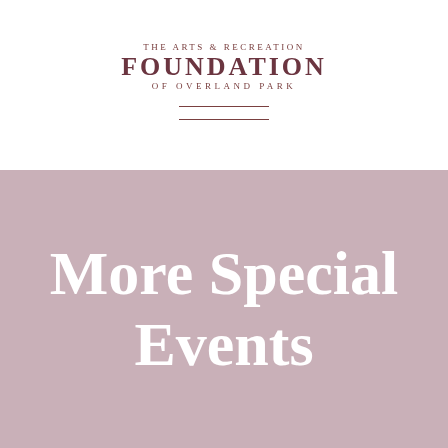[Figure (logo): The Arts & Recreation Foundation of Overland Park logo with double horizontal rule divider]
More Special Events